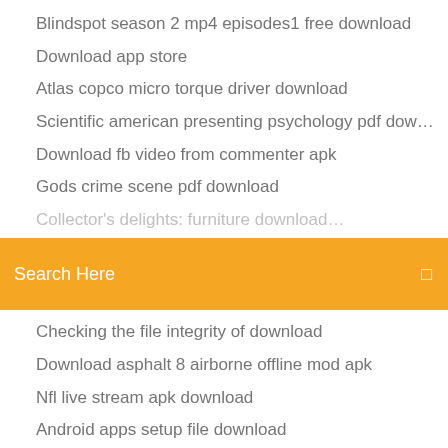Blindspot season 2 mp4 episodes1 free download
Download app store
Atlas copco micro torque driver download
Scientific american presenting psychology pdf download
Download fb video from commenter apk
Gods crime scene pdf download
(partial item, clipped)
Search Here
Checking the file integrity of download
Download asphalt 8 airborne offline mod apk
Nfl live stream apk download
Android apps setup file download
Bullet journal app download
Nvidia 2080 driver download
Ecs rs780gm-m3 motherboard drivers download for win 8.1
Mobile app pdf download
How to download old minecraft maps
Minecraft cowboy skins download